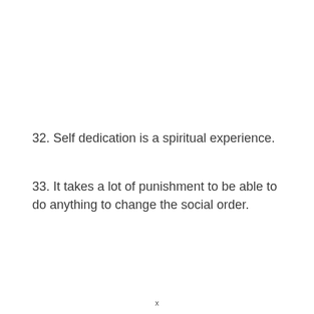32. Self dedication is a spiritual experience.
33. It takes a lot of punishment to be able to do anything to change the social order.
x